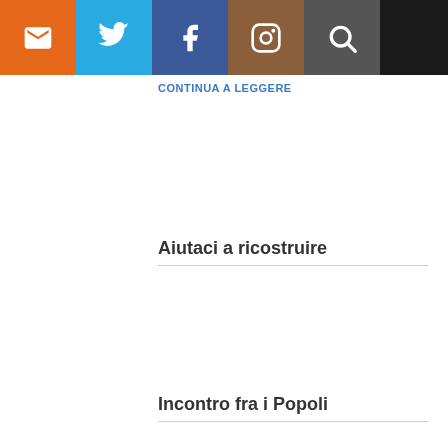Navigation bar with email, twitter, facebook, instagram, search buttons
CONTINUA A LEGGERE
Aiutaci a ricostruire
Incontro fra i Popoli